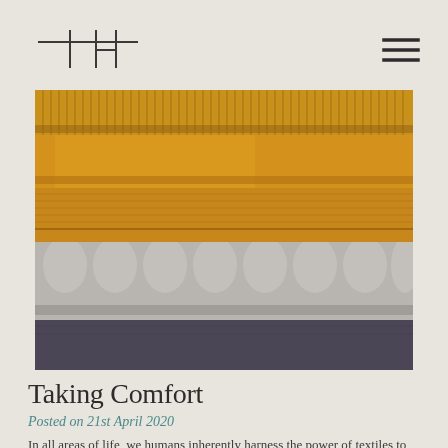JH logo and navigation menu
[Figure (photo): Stack of folded knitwear and textiles: mustard yellow ribbed sweater on top, golden yellow fabric, thick mustard knit sweater, chunky grey cable-knit sweater, and dark grey/navy fabric at the bottom.]
Taking Comfort
Posted on 21st April 2020
In all areas of life, we humans inherently harness the power of textiles to